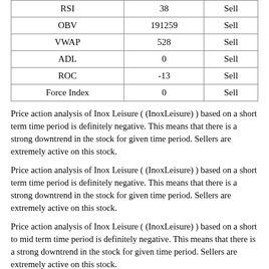|  |  |  |
| --- | --- | --- |
| RSI | 38 | Sell |
| OBV | 191259 | Sell |
| VWAP | 528 | Sell |
| ADL | 0 | Sell |
| ROC | -13 | Sell |
| Force Index | 0 | Sell |
Price action analysis of Inox Leisure ( (InoxLeisure) ) based on a short term time period is definitely negative. This means that there is a strong downtrend in the stock for given time period. Sellers are extremely active on this stock.
Price action analysis of Inox Leisure ( (InoxLeisure) ) based on a short term time period is definitely negative. This means that there is a strong downtrend in the stock for given time period. Sellers are extremely active on this stock.
Price action analysis of Inox Leisure ( (InoxLeisure) ) based on a short to mid term time period is definitely negative. This means that there is a strong downtrend in the stock for given time period. Sellers are extremely active on this stock.
Price action analysis of Inox Leisure ( (InoxLeisure) ) based on a mid to longer term time period is definitely positive. This